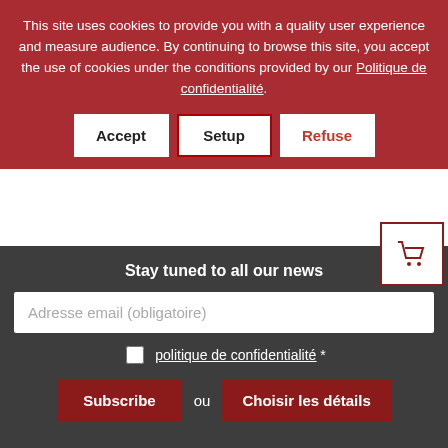This site uses cookies to provide you with a quality user experience and measure audience. By continuing to browse this site, you accept the use of cookies under the conditions provided by our Politique de confidentialité.
Accept | Setup | Refuse
Je lui donnerai un nom qui ne périra jamais
20,3 × 13,3 × 1 cm   158 pages
9,00 € – 20,00 € TTC
Select options
Stay tuned to all our news
Adresse email (obligatoire)
politique de confidentialité *
Subscribe  ou  Choisir les détails